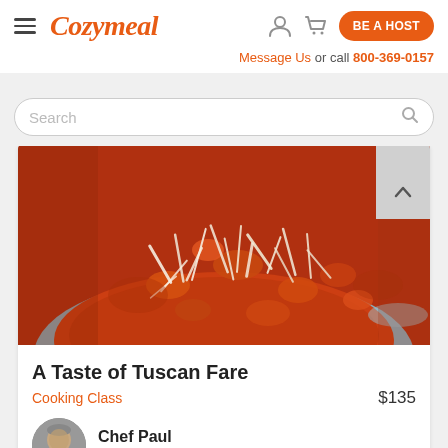Cozymeal — BE A HOST — Message Us or call 800-369-0157
Search
[Figure (photo): Close-up photo of Italian pasta dish with tomato sauce and shredded parmesan cheese in a white/blue bowl]
A Taste of Tuscan Fare
Cooking Class
$135
Chef Paul
New York
37 reviews